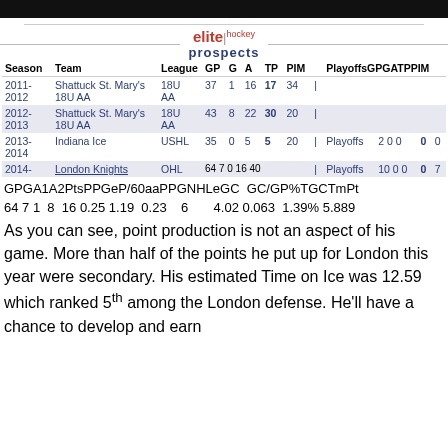| Season | Team | League | GP | G | A | TP | PIM |  | Playoffs | GP | G | A | TP | PIM |
| --- | --- | --- | --- | --- | --- | --- | --- | --- | --- | --- | --- | --- | --- | --- |
| 2011-2012 | Shattuck St. Mary's 18U AA | 18U AA | 37 | 1 | 16 | 17 | 34 | | |  |  |  |  |  |  |
| 2012-2013 | Shattuck St. Mary's 18U AA | 18U AA | 43 | 8 | 22 | 30 | 20 | | |  |  |  |  |  |  |
| 2013-2014 | Indiana Ice | USHL | 35 | 0 | 5 | 5 | 20 | | | Playoffs | 2 | 0 | 0 | 0 | 0 |
| 2014- | London Knights | OHL | 64 | 7 | 0+16 | 40 | | | Playoffs | 10 | 0 | 0 | 0 | 7 |
GPGA1A2PtsPPGeP/60aaPPGNHLeGC  GC/GP%TGCTmPt
64 7 1  8  16 0.25 1.19  0.23    6       4.02 0.063  1.39% 5.889
As you can see, point production is not an aspect of his game. More than half of the points he put up for London this year were secondary. His estimated Time on Ice was 12.59 which ranked 5th among the London defense. He'll have a chance to develop and earn